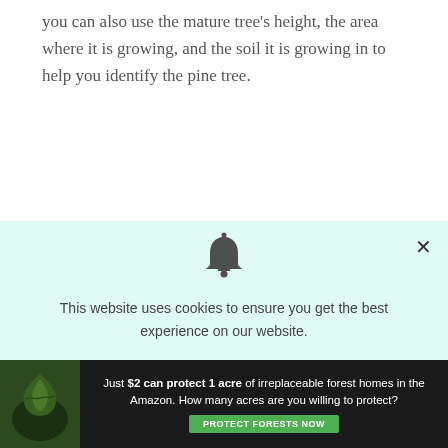you can also use the mature tree's height, the area where it is growing, and the soil it is growing in to help you identify the pine tree.
Leave a Reply
Your email address will not be published. Required
[Figure (screenshot): Cookie consent popup overlay with bell icon, close button (×), and text: 'This website uses cookies to ensure you get the best experience on our website.' Light mint/cyan background.]
[Figure (infographic): Advertisement banner at bottom: dark background with forest image on left, text 'Just $2 can protect 1 acre of irreplaceable forest homes in the Amazon. How many acres are you willing to protect?' and a green 'PROTECT FORESTS NOW' button.]